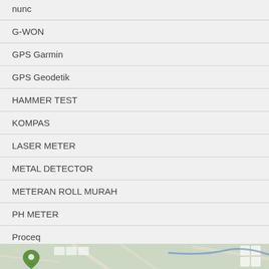nunc
G-WON
GPS Garmin
GPS Geodetik
HAMMER TEST
KOMPAS
LASER METER
METAL DETECTOR
METERAN ROLL MURAH
PH METER
Proceq
SIRINE
SOUND METER LEVEL
THEODOLITE
TOTAL STATAION
Wood Moisture Meter
ALAMAT KANTOR
[Figure (map): Map strip showing partial Google Maps view at the bottom of the page]